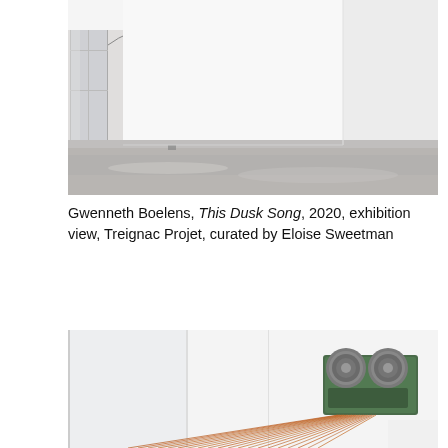[Figure (photo): Interior gallery exhibition view showing a large white minimalist room with concrete floor. A thin wire or cord runs along the ceiling. Small objects are visible on the floor along the left wall. The space is very bright and open.]
Gwenneth Boelens, This Dusk Song, 2020, exhibition view, Treignac Projet, curated by Eloise Sweetman
[Figure (photo): Close-up photograph of an industrial or mechanical device — a green metal machine with two grey cylindrical drums on top, from which orange/copper wire threads or filaments are spreading outward and downward. The object is mounted on or near a white wall with bright light coming from a window on the left.]